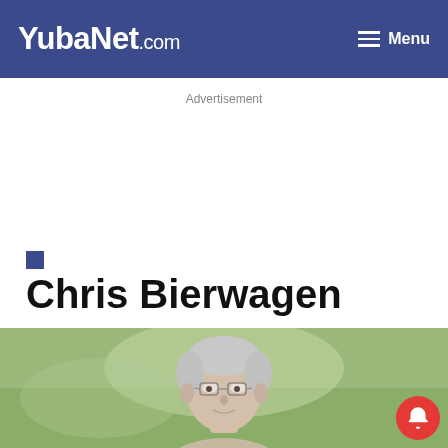YubaNet.com | Menu
Advertisement
Chris Bierwagen
[Figure (photo): Portrait photo of Chris Bierwagen, an older man with grey hair and glasses, outdoors with a green blurred background]